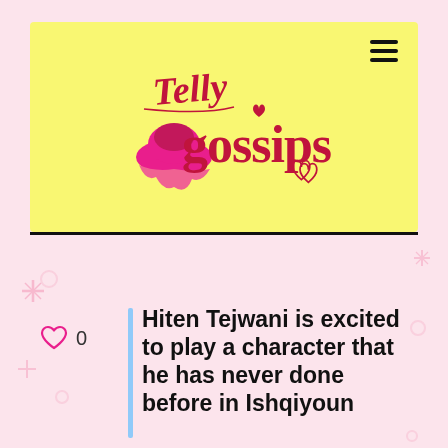[Figure (logo): Telly Gossips logo on yellow banner background with pink scripted Telly text and red bold gossips text, with heart decorations]
Hiten Tejwani is excited to play a character that he has never done before in Ishqiyoun